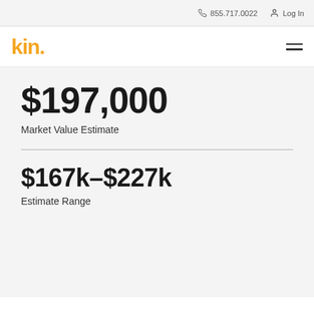855.717.0022  Log In
[Figure (logo): Kin insurance logo in gold/yellow text reading 'kin.' with hamburger menu icon]
$197,000
Market Value Estimate
$167k–$227k
Estimate Range